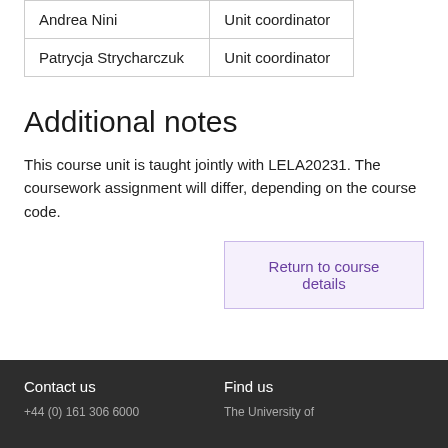| Name | Role |
| --- | --- |
| Andrea Nini | Unit coordinator |
| Patrycja Strycharczuk | Unit coordinator |
Additional notes
This course unit is taught jointly with LELA20231. The coursework assignment will differ, depending on the course code.
Return to course details
Contact us   Find us